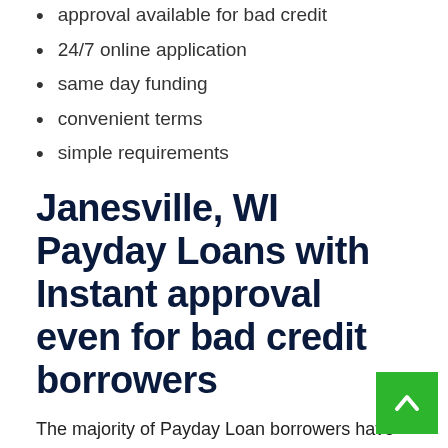approval available for bad credit
24/7 online application
same day funding
convenient terms
simple requirements
Janesville, WI Payday Loans with Instant approval even for bad credit borrowers
The majority of Payday Loan borrowers have either a bad credit history or no credit at all. But it doesn't mean it's not possible to get approved for online Payday Loans in Janesville, WI. Plenty of Janesville lending companies provide emergency cash advance to bad